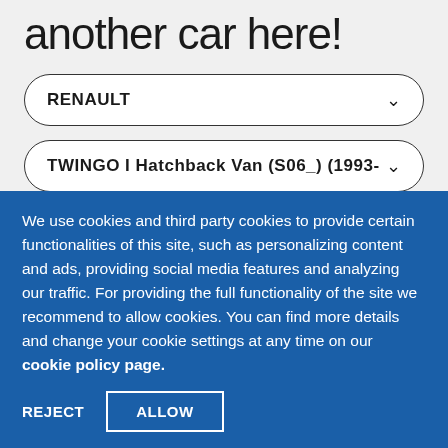another car here!
RENAULT
TWINGO I Hatchback Van (S06_) (1993-
We use cookies and third party cookies to provide certain functionalities of this site, such as personalizing content and ads, providing social media features and analyzing our traffic. For providing the full functionality of the site we recommend to allow cookies. You can find more details and change your cookie settings at any time on our cookie policy page.
REJECT
ALLOW